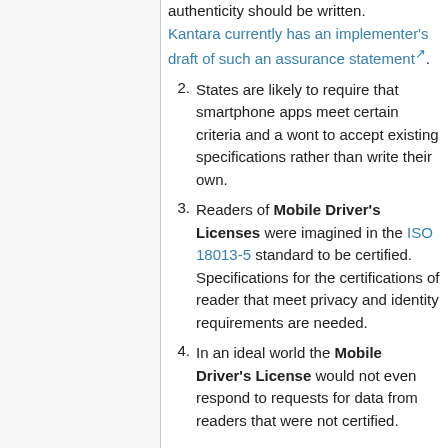authenticity should be written. Kantara currently has an implementer's draft of such an assurance statement.
2. States are likely to require that smartphone apps meet certain criteria and a wont to accept existing specifications rather than write their own.
3. Readers of Mobile Driver's Licenses were imagined in the ISO 18013-5 standard to be certified. Specifications for the certifications of reader that meet privacy and identity requirements are needed.
4. In an ideal world the Mobile Driver's License would not even respond to requests for data from readers that were not certified.